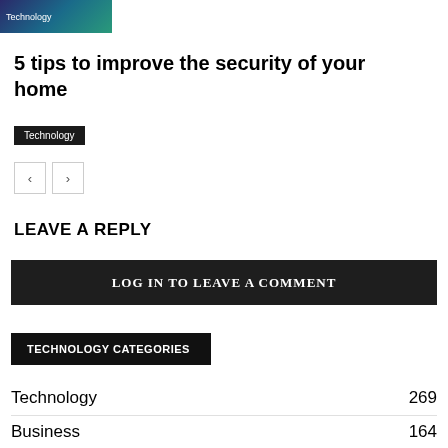[Figure (screenshot): Thumbnail image with 'Technology' label overlay on a dark blue/teal background]
5 tips to improve the security of your home
Technology
[Figure (other): Navigation pagination buttons: left arrow and right arrow]
LEAVE A REPLY
LOG IN TO LEAVE A COMMENT
TECHNOLOGY CATEGORIES
Technology   269
Business   164